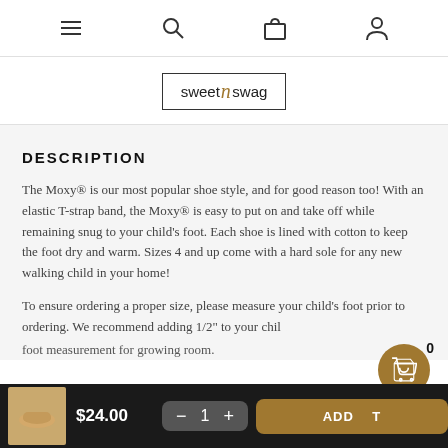[Navigation icons: menu, search, bag, profile]
[Figure (logo): sweet n swag logo in a rectangular border]
DESCRIPTION
The Moxy® is our most popular shoe style, and for good reason too! With an elastic T-strap band, the Moxy® is easy to put on and take off while remaining snug to your child's foot. Each shoe is lined with cotton to keep the foot dry and warm. Sizes 4 and up come with a hard sole for any new walking child in your home!
To ensure ordering a proper size, please measure your child's foot prior to ordering. We recommend adding 1/2" to your child's foot measurement for growing room.
$24.00  −  1  +  ADD TO CART  [cart icon]  0